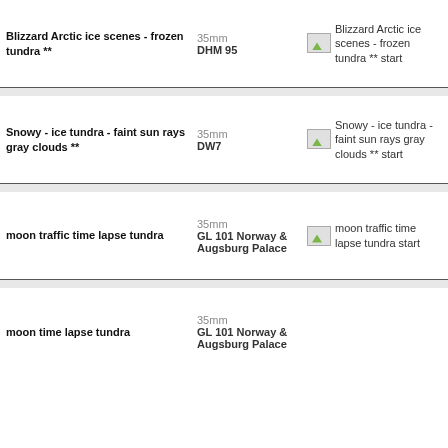Blizzard Arctic ice scenes - frozen tundra **
35mm DHM 95
Blizzard Arctic ice scenes - frozen tundra ** start
Snowy - ice tundra - faint sun rays gray clouds **
35mm DW7
Snowy - ice tundra - faint sun rays gray clouds ** start
moon traffic time lapse tundra
35mm GL 101 Norway & Augsburg Palace
moon traffic time lapse tundra start
moon time lapse tundra
35mm GL 101 Norway & Augsburg Palace